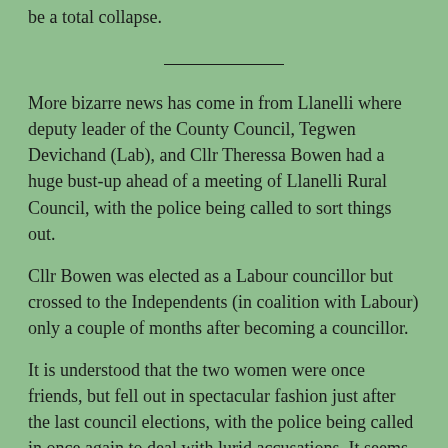be a total collapse.
More bizarre news has come in from Llanelli where deputy leader of the County Council, Tegwen Devichand (Lab), and Cllr Theressa Bowen had a huge bust-up ahead of a meeting of Llanelli Rural Council, with the police being called to sort things out.
Cllr Bowen was elected as a Labour councillor but crossed to the Independents (in coalition with Labour) only a couple of months after becoming a councillor.
It is understood that the two women were once friends, but fell out in spectacular fashion just after the last council elections, with the police being called in once again to deal with lurid accusations. It seems that the boys in blue decided that no further action was necessary, presumably because the allegations were not supported by evidence.
According to someone present, things could have turned very nasty had it not been for an intervention by Cllr Sharen Davies to